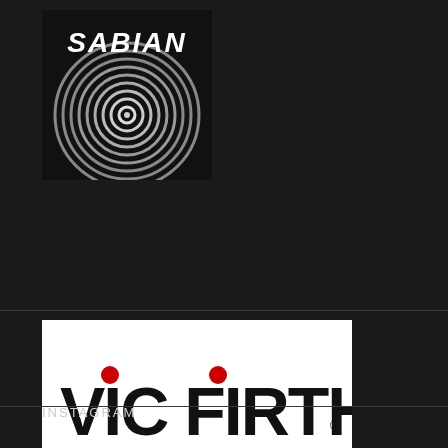[Figure (logo): SABIAN cymbal brand logo — black background with white concentric circles resembling a cymbal top-down view, bold white metallic 'SABIAN' text at top]
[Figure (logo): Vic Firth logo on white background — bold black 'VIC FIRTH' text with red dot accents above letters 'i' in VIC and 'I' in FIRTH, tagline 'THE PERFECT PAIR' with trademark symbol below]
INSTAGRAM